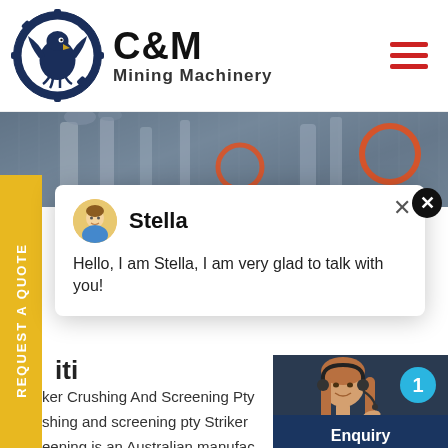[Figure (logo): C&M Mining Machinery logo with eagle in gear circle]
[Figure (photo): Industrial machinery/equipment hero banner photo]
[Figure (screenshot): Live chat popup with agent Stella saying Hello, I am Stella, I am very glad to talk with you!]
iti
ker Crushing And Screening Pty
shing and screening pty Striker
eening is an Australian manufac
track mounted crushing and scree
crushers, impact crushers, screens
[Figure (photo): Customer service agent photo with headset]
Click to Chat
Enquiry